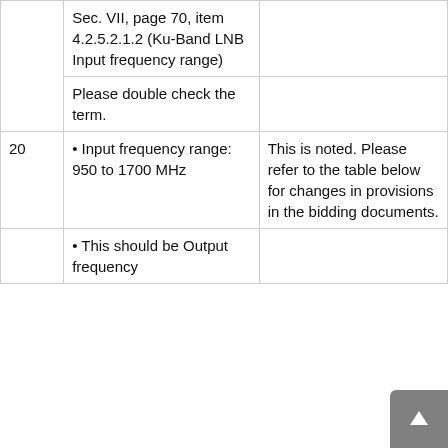Sec. VII, page 70, item 4.2.5.2.1.2 (Ku-Band LNB Input frequency range)
Please double check the term.
20
Input frequency range: 950 to 1700 MHz
This is noted. Please refer to the table below for changes in provisions in the bidding documents.
This should be Output frequency